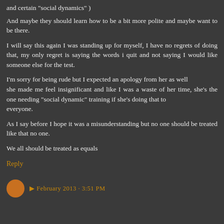and certain "social dynamics" )
And maybe they should learn how to be a bit more polite and maybe want to be there.
I will say this again I was standing up for myself, I have no regrets of doing that, my only regret is saying the words i quit and not saying I would like someone else for the test.
I'm sorry for being rude but I expected an apology from her as well
she made me feel insignificant and like I was a waste of her time, she's the one needing "social dynamic" training if she's doing that to
everyone.
As I say before I hope it was a misunderstanding but no one should be treated like that no one.
We all should be treated as equals
Reply